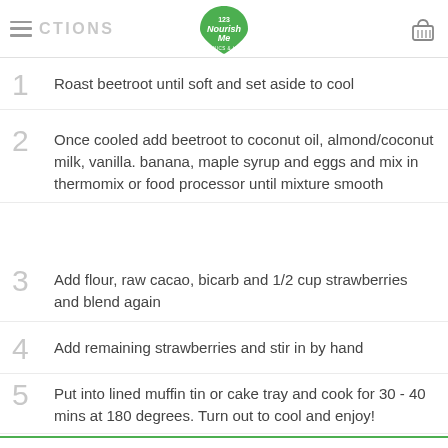DIRECTIONS | 123 Nourish Me - Organics with Heart
1 Roast beetroot until soft and set aside to cool
2 Once cooled add beetroot to coconut oil, almond/coconut milk, vanilla. banana, maple syrup and eggs and mix in thermomix or food processor until mixture smooth
3 Add flour, raw cacao, bicarb and 1/2 cup strawberries and blend again
4 Add remaining strawberries and stir in by hand
5 Put into lined muffin tin or cake tray and cook for 30 - 40 mins at 180 degrees. Turn out to cool and enjoy!